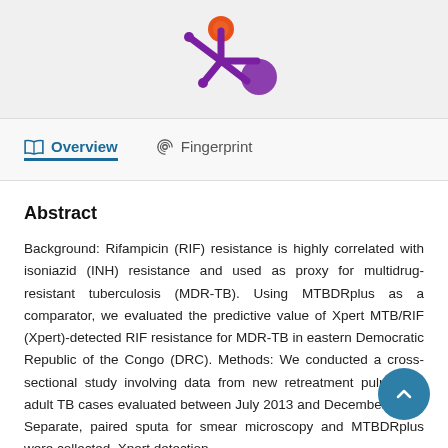[Figure (logo): Academic/research platform logo with orange and purple starburst/molecule design on grey background]
Overview   Fingerprint
Abstract
Background: Rifampicin (RIF) resistance is highly correlated with isoniazid (INH) resistance and used as proxy for multidrug-resistant tuberculosis (MDR-TB). Using MTBDRplus as a comparator, we evaluated the predictive value of Xpert MTB/RIF (Xpert)-detected RIF resistance for MDR-TB in eastern Democratic Republic of the Congo (DRC). Methods: We conducted a cross-sectional study involving data from new retreatment pulmonary adult TB cases evaluated between July 2013 and December 2016. Separate, paired sputa for smear microscopy and MTBDRplus were collected. Xpert detection